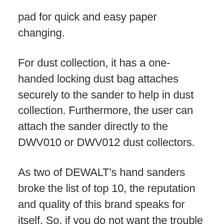pad for quick and easy paper changing.
For dust collection, it has a one-handed locking dust bag attaches securely to the sander to help in dust collection. Furthermore, the user can attach the sander directly to the DWV010 or DWV012 dust collectors.
As two of DEWALT’s hand sanders broke the list of top 10, the reputation and quality of this brand speaks for itself. So, if you do not want the trouble of wire, you can buy this hand sander for your woodwork.